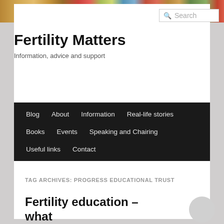[Figure (photo): Blurred colorful banner background at top of page]
Fertility Matters
Information, advice and support
Search
Blog   About   Information   Real-life stories   Books   Events   Speaking and Chairing   Useful links   Contact
TAG ARCHIVES: PROGRESS EDUCATIONAL TRUST
Fertility education – what